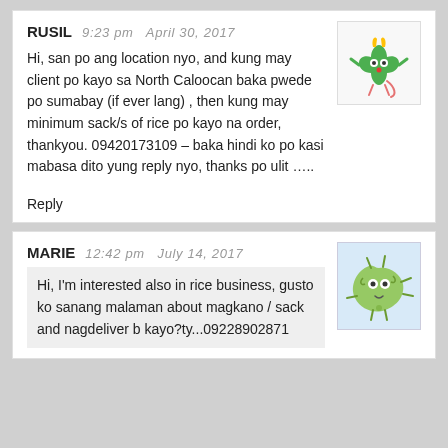RUSIL   9:23 pm   April 30, 2017
Hi, san po ang location nyo, and kung may client po kayo sa North Caloocan baka pwede po sumabay (if ever lang) , then kung may minimum sack/s of rice po kayo na order, thankyou. 09420173109 – baka hindi ko po kasi mabasa dito yung reply nyo, thanks po ulit …..
Reply
[Figure (illustration): Green monster cartoon avatar with horns and tail]
MARIE   12:42 pm   July 14, 2017
Hi, I'm interested also in rice business, gusto ko sanang malaman about magkano / sack and nagdeliver b kayo?ty...09228902871
[Figure (illustration): Green blob monster cartoon avatar]